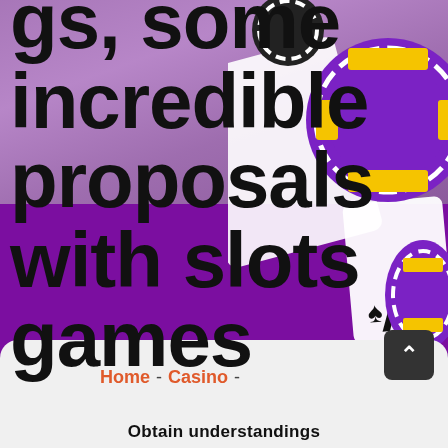[Figure (photo): Casino-themed hero image with purple background, playing cards (Ace of Spades), and purple/yellow/black casino chips on the right side. White/grey card fan visible on upper left.]
gs, some incredible proposals with slots games
Home - Casino -
Obtain understandings